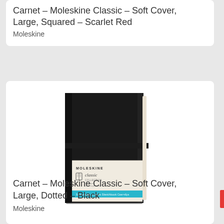Carnet – Moleskine Classic – Soft Cover, Large, Squared – Scarlet Red
Moleskine
[Figure (photo): Photo of a black Moleskine classic hardcover notebook with elastic band closure and a paper band/label around the middle showing 'MOLESKINE', 'classic collection' text, an open book icon, and a teal/cyan stripe with text.]
Carnet – Moleskine Classic – Soft Cover, Large, Dotted – Black
Moleskine